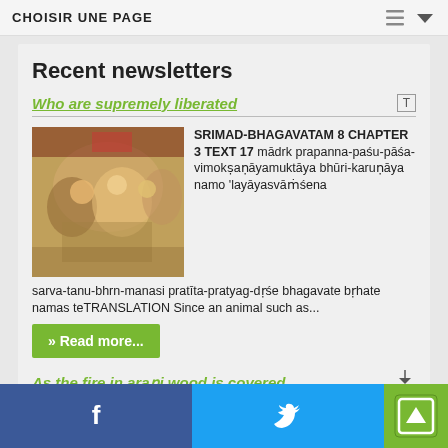CHOISIR UNE PAGE
Recent newsletters
Who are supremely liberated
[Figure (photo): Group of people gathered indoors, blurred photo]
SRIMAD-BHAGAVATAM 8 CHAPTER 3 TEXT 17 mādrk prapanna-paśu-pāśa-vimokṣaṇāyamuktāya bhūri-karuṇāya namo 'layāyasvāṁśena sarva-tanu-bhrn-manasi pratīta-pratyag-dṛśe bhagavate bṛhate namas teTRANSLATION Since an animal such as...
» Read more...
As the fire in araṇi wood is covered
Yourself have no cause